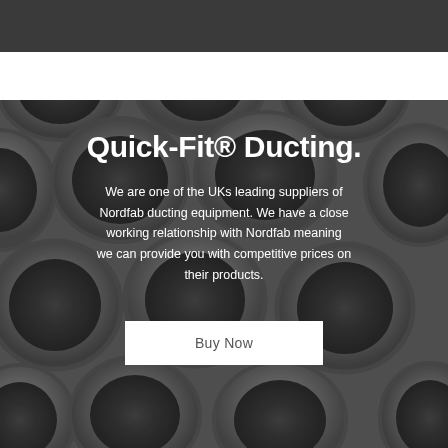[Figure (photo): Background photograph of multiple round metal circular duct components (Nordfab Quick-Fit ducting) arranged in a grid pattern, viewed from above, in a grey metallic tone.]
Quick-Fit® Ducting.
We are one of the UKs leading suppliers of Nordfab ducting equipment. We have a close working relationship with Nordfab meaning we can provide you with competitive prices on their products.
Buy Now